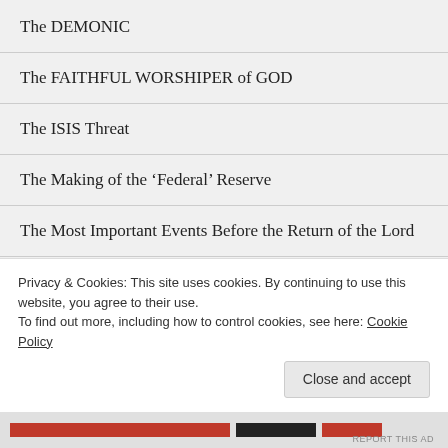The DEMONIC
The FAITHFUL WORSHIPER of GOD
The ISIS Threat
The Making of the ‘Federal’ Reserve
The Most Important Events Before the Return of the Lord
The Most Important Events in the Bible (BC)
The Most Important Name in the Bible
Advertisements
Privacy & Cookies: This site uses cookies. By continuing to use this website, you agree to their use.
To find out more, including how to control cookies, see here: Cookie Policy
Close and accept